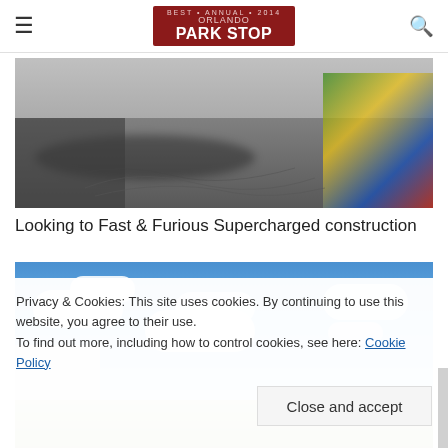Orlando Park Stop
[Figure (photo): Ground-level view of a cracked pavement/road area with shadows and a colorful mural visible on the right side wall, looking toward Fast & Furious Supercharged construction area.]
Looking to Fast & Furious Supercharged construction
[Figure (photo): Blue sky with white clouds, with a building visible at the lower left and colorful murals visible at the bottom of the frame.]
Privacy & Cookies: This site uses cookies. By continuing to use this website, you agree to their use.
To find out more, including how to control cookies, see here: Cookie Policy
Close and accept